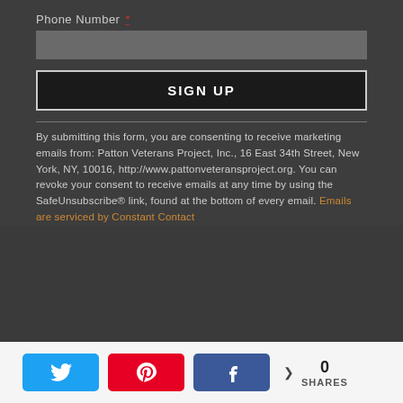Phone Number *
SIGN UP
By submitting this form, you are consenting to receive marketing emails from: Patton Veterans Project, Inc., 16 East 34th Street, New York, NY, 10016, http://www.pattonveteransproject.org. You can revoke your consent to receive emails at any time by using the SafeUnsubscribe® link, found at the bottom of every email. Emails are serviced by Constant Contact
0 SHARES